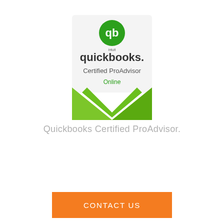[Figure (logo): QuickBooks Certified ProAdvisor Online badge/shield logo with green QB circle icon at top, 'quickbooks.' text, 'Certified ProAdvisor' text, 'Online' in green text, and green chevron/shield shape at bottom]
Quickbooks Certified ProAdvisor.
CONTACT US